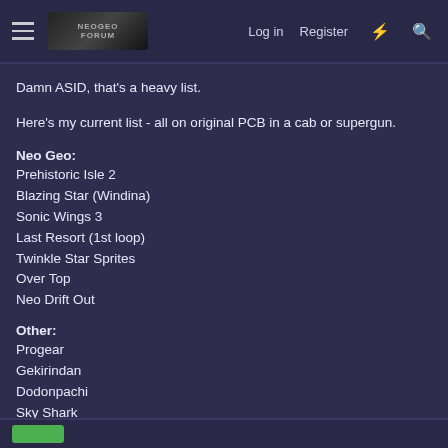Log in  Register  [lightning icon]  [search icon]
Damn ASID, that's a heavy list.
Here's my current list - all on original PCB in a cab or supergun.
Neo Geo:
Prehistoric Isle 2
Blazing Star (Windina)
Sonic Wings 3
Last Resort (1st loop)
Twinkle Star Sprites
Over Top
Neo Drift Out
Other:
Progear
Gekirindan
Dodonpachi
Sky Shark